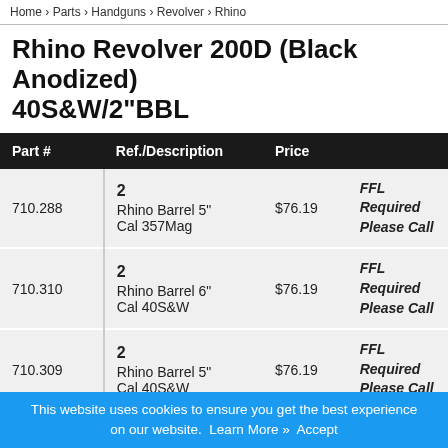Home › Parts › Handguns › Revolver › Rhino
Rhino Revolver 200D (Black Anodized) 40S&W/2"BBL
| Part # | Ref./Description | Price |  |
| --- | --- | --- | --- |
| 710.288 | 2
Rhino Barrel 5"
Cal 357Mag | $76.19 | FFL Required
Please Call |
| 710.310 | 2
Rhino Barrel 6"
Cal 40S&W | $76.19 | FFL Required
Please Call |
| 710.309 | 2
Rhino Barrel 5"
Cal 40S&W | $76.19 | FFL Required
Please Call |
This website uses cookies to ensure you get the best experience on our website.  Learn More »  Accept